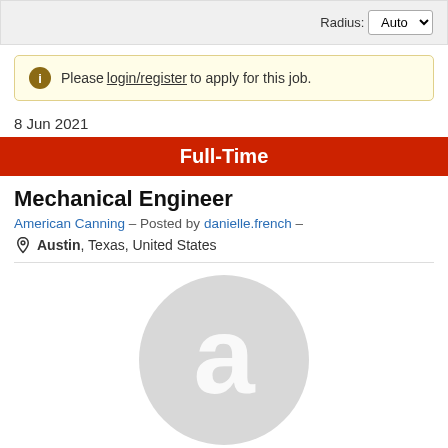Radius: Auto
Please login/register to apply for this job.
8 Jun 2021
Full-Time
Mechanical Engineer
American Canning – Posted by danielle.french –
Austin, Texas, United States
[Figure (logo): Company logo placeholder — light gray circle with stylized letter 'a' in white]